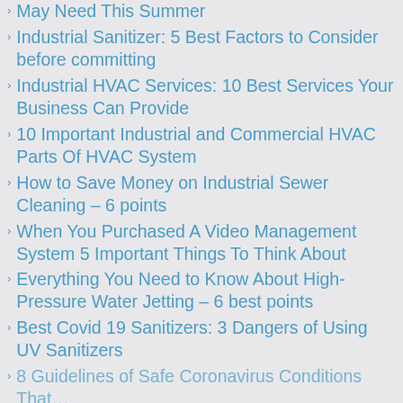May Need This Summer
Industrial Sanitizer: 5 Best Factors to Consider before committing
Industrial HVAC Services: 10 Best Services Your Business Can Provide
10 Important Industrial and Commercial HVAC Parts Of HVAC System
How to Save Money on Industrial Sewer Cleaning – 6 points
When You Purchased A Video Management System 5 Important Things To Think About
Everything You Need to Know About High-Pressure Water Jetting – 6 best points
Best Covid 19 Sanitizers: 3 Dangers of Using UV Sanitizers
8 Guidelines of Safe Coronavirus Conditions That…